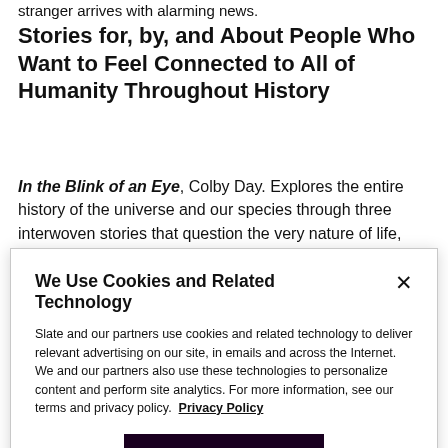stranger arrives with alarming news.
Stories for, by, and About People Who Want to Feel Connected to All of Humanity Throughout History
In the Blink of an Eye, Colby Day. Explores the entire history of the universe and our species through three interwoven stories that question the very nature of life, love, mortality, where we've been, and where we're
We Use Cookies and Related Technology
Slate and our partners use cookies and related technology to deliver relevant advertising on our site, in emails and across the Internet. We and our partners also use these technologies to personalize content and perform site analytics. For more information, see our terms and privacy policy. Privacy Policy
OK